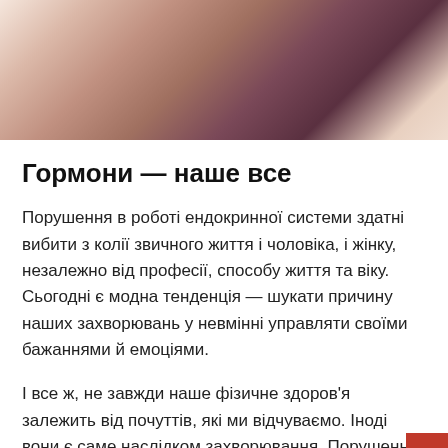[Figure (photo): Close-up photo of a person in a purple/maroon top, appears to be a medical or health-related image]
Гормони — наше все
Порушення в роботі ендокринної системи здатні вибити з колії звичного життя і чоловіка, і жінку, незалежно від професії, способу життя та віку. Сьогодні є модна тенденція — шукати причину наших захворювань у невмінні управляти своїми бажаннями й емоціями.
І все ж, не завжди наше фізичне здоров'я залежить від почуттів, які ми відчуваємо. Іноді вони є саме наслідком захворювання. Порушення роботи ендокринної системи тому наочний приклад, ідеться у матеріалі